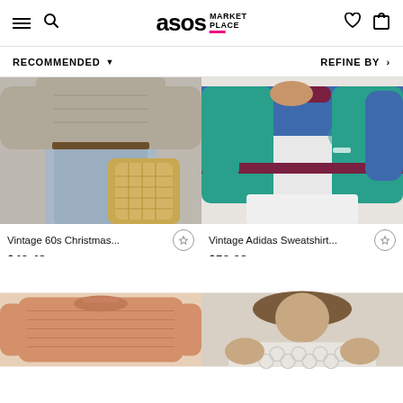ASOS MARKETPLACE
RECOMMENDED ▾
REFINE BY ›
[Figure (photo): Person wearing vintage knitwear sweater with jeans and holding a wicker basket]
Vintage 60s Christmas...
$42.48
[Figure (photo): Person wearing vintage Adidas color-block sweatshirt in blue, teal, and maroon with white shorts]
Vintage Adidas Sweatshirt...
$53.08
[Figure (photo): Peach/terracotta colored ribbed sweater laid flat]
[Figure (photo): Person wearing white lace top]